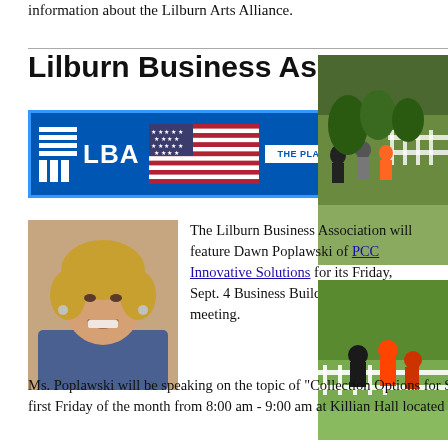information about the Lilburn Arts Alliance.
Lilburn Business Association
[Figure (logo): Lilburn Business Association (LBA) logo with American flag and tagline 'THE PLACE TO DO BUSINESS IN LILBURNE']
[Figure (photo): People working near trees and a white fence outdoors]
[Figure (photo): Portrait of a smiling blonde woman]
The Lilburn Business Association will feature Dawn Poplawski of PCC Innovative Solutions for its Friday, Sept. 4 Business Builders Breakfast meeting. Ms. Poplawski will be speaking on the topic of "Collection Options for Small Businesses." Business Builders meets the first Friday of the month from 8:00 am - 9:00 am at Killian Hall located at 908 Killian Hill Rd, Lilburn, 30047
[Figure (photo): People working in a grassy area near a white fence, aerial view]